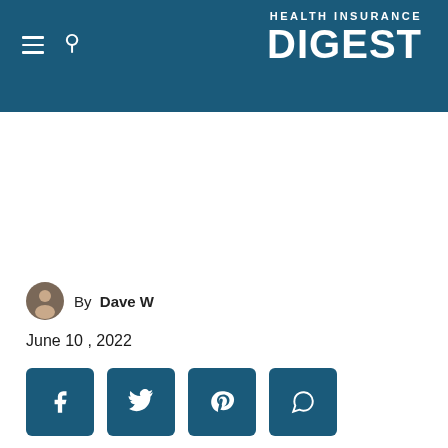HEALTH INSURANCE DIGEST
By Dave W
June 10, 2022
[Figure (other): Social share buttons: Facebook, Twitter, Pinterest, WhatsApp]